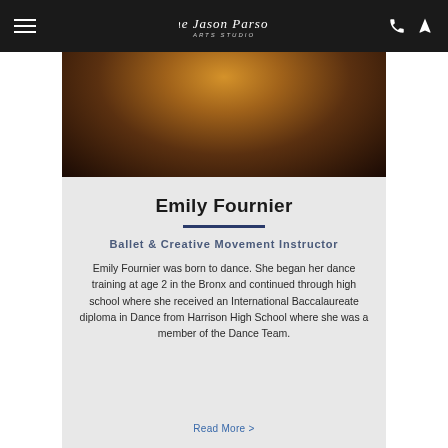Navigation bar with hamburger menu, The Jason Parsons Arts Studio logo, phone icon, and location icon
[Figure (photo): Close-up photograph of a dancer from behind, warm amber and golden lighting illuminating hair and shoulders against dark background]
Emily Fournier
Ballet & Creative Movement Instructor
Emily Fournier was born to dance. She began her dance training at age 2 in the Bronx and continued through high school where she received an International Baccalaureate diploma in Dance from Harrison High School where she was a member of the Dance Team.
Read More >